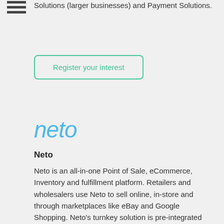Solutions (larger businesses) and Payment Solutions.
Register your interest
[Figure (logo): Neto logo in blue italic text]
Neto
Neto is an all-in-one Point of Sale, eCommerce, Inventory and fulfillment platform. Retailers and wholesalers use Neto to sell online, in-store and through marketplaces like eBay and Google Shopping. Neto's turnkey solution is pre-integrated with leading providers such as PayPal,